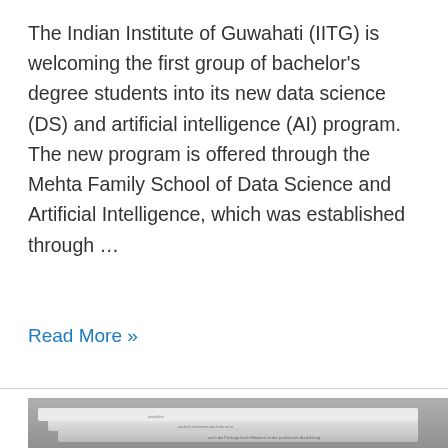The Indian Institute of Guwahati (IITG) is welcoming the first group of bachelor's degree students into its new data science (DS) and artificial intelligence (AI) program. The new program is offered through the Mehta Family School of Data Science and Artificial Intelligence, which was established through ...
Read More »
[Figure (photo): Black and white photograph of a stack of folded newspapers piled on top of each other, with text visible on the newspaper pages.]